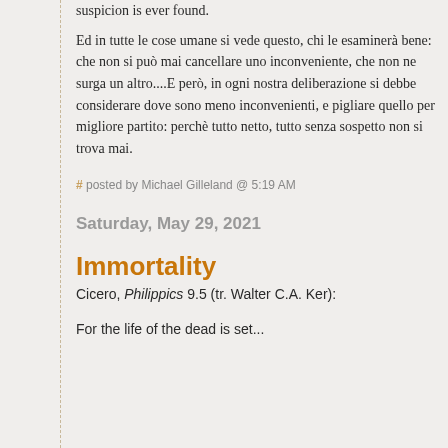Ed in tutte le cose umane si vede questo, chi le esaminerà bene: che non si può mai cancellare uno inconveniente, che non ne surga un altro....E però, in ogni nostra deliberazione si debbe considerare dove sono meno inconvenienti, e pigliare quello per migliore partito: perchè tutto netto, tutto senza sospetto non si trova mai.
# posted by Michael Gilleland @ 5:19 AM
Saturday, May 29, 2021
Immortality
Cicero, Philippics 9.5 (tr. Walter C.A. Ker):